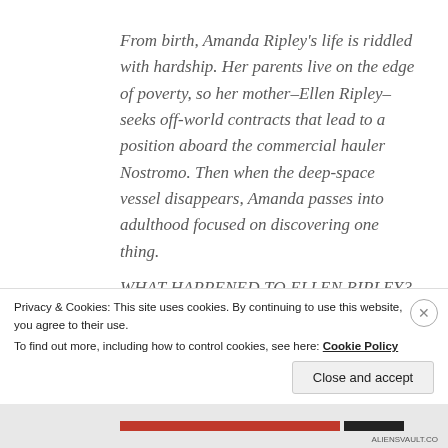From birth, Amanda Ripley's life is riddled with hardship. Her parents live on the edge of poverty, so her mother–Ellen Ripley–seeks off-world contracts that lead to a position aboard the commercial hauler Nostromo. Then when the deep-space vessel disappears, Amanda passes into adulthood focused on discovering one thing.
WHAT HAPPENED TO ELLEN RIPLEY?
Amanda's quest pulls her into the underbelly of
Privacy & Cookies: This site uses cookies. By continuing to use this website, you agree to their use.
To find out more, including how to control cookies, see here: Cookie Policy